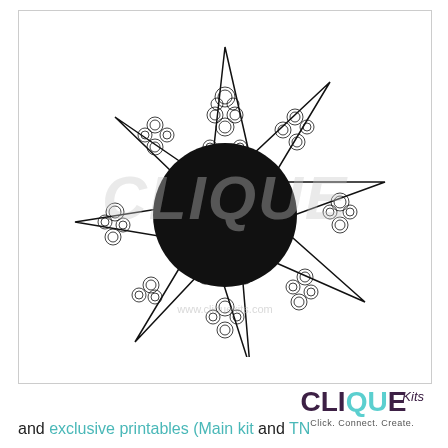[Figure (illustration): An 8-pointed star shape with intricate rose/floral filigree pattern in each pointed section, and a large black circle in the center. There is a faint 'CLIQUE' watermark and URL 'www.cliquekits.com' behind the illustration. The image is contained in a light-bordered square box.]
[Figure (logo): Clique Kits logo: 'CLIQUE' in bold dark purple/maroon with the final 'E' in teal, followed by italic 'Kits' in smaller text. Tagline: 'Click. Connect. Create.' in small grey text below.]
and exclusive printables (Main kit and TN